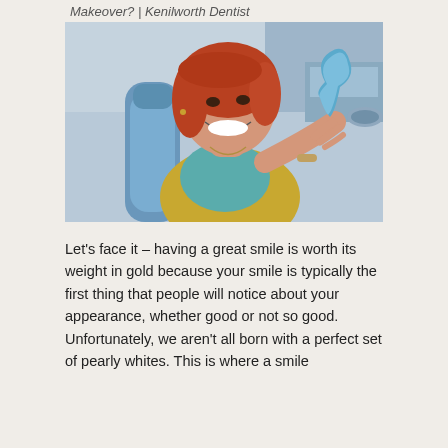Makeover? | Kenilworth Dentist
[Figure (photo): A smiling woman with red hair sitting in a dental chair, holding a blue tooth-shaped mirror and looking at her smile. Dental office background visible.]
Let's face it – having a great smile is worth its weight in gold because your smile is typically the first thing that people will notice about your appearance, whether good or not so good. Unfortunately, we aren't all born with a perfect set of pearly whites. This is where a smile